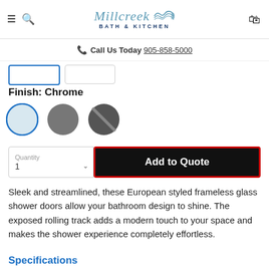[Figure (logo): Millcreek Bath & Kitchen logo with script text and wave/fish icon]
Call Us Today 905-858-5000
Finish: Chrome
[Figure (illustration): Three color swatches: light blue/chrome (selected with border), medium gray, dark gray with diagonal slash]
Quantity 1
Add to Quote
Sleek and streamlined, these European styled frameless glass shower doors allow your bathroom design to shine. The exposed rolling track adds a modern touch to your space and makes the shower experience completely effortless.
Specifications